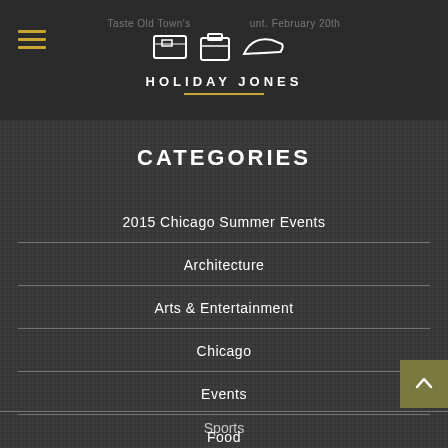HOLIDAY JONES
CATEGORIES
2015 Chicago Summer Events
Architecture
Arts & Entertainment
Chicago
Events
Food
Music
Nightlife
Sports